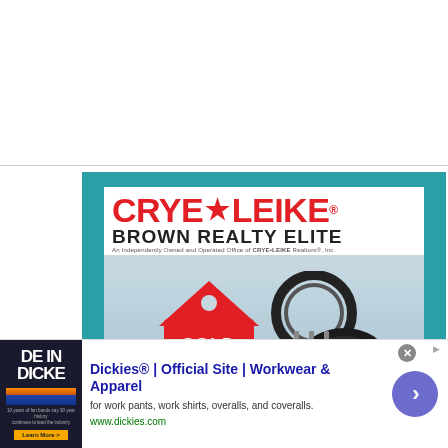[Figure (logo): Crye-Leike Brown Realty Elite logo and real estate advertisement card with teal background, showing CRYE*LEIKE® BROWN REALTY ELITE text with a photo of a red house-shaped 'SOLD' keychain next to car keys]
[Figure (infographic): Dickies® advertisement banner: 'Dickies® | Official Site | Workwear & Apparel — for work pants, work shirts, overalls, and coveralls. www.dickies.com' with thumbnail image and circular CTA arrow button]